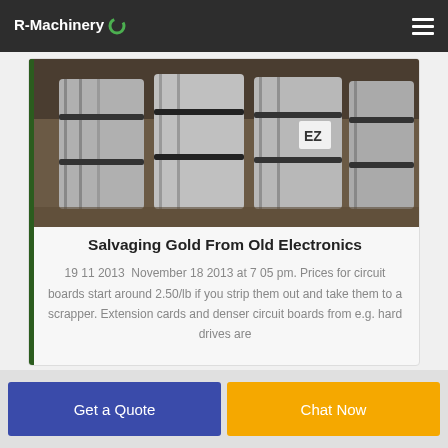R-Machinery
[Figure (photo): Bales of scrap metal/electronics wrapped in silver material with black straps, stacked in a warehouse]
Salvaging Gold From Old Electronics
19 11 2013  November 18 2013 at 7 05 pm. Prices for circuit boards start around 2.50/lb if you strip them out and take them to a scrapper. Extension cards and denser circuit boards from e.g. hard drives are
Get a Quote
Chat Now